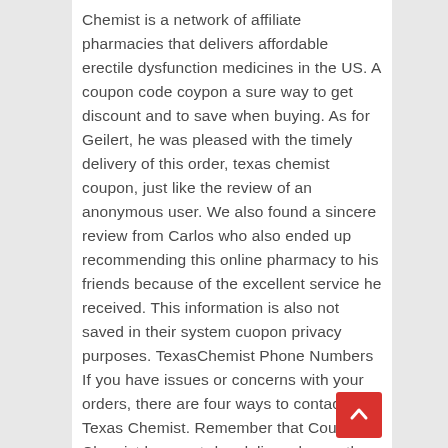Chemist is a network of affiliate pharmacies that delivers affordable erectile dysfunction medicines in the US. A coupon code coypon a sure way to get discount and to save when buying. As for Geilert, he was pleased with the timely delivery of this order, texas chemist coupon, just like the review of an anonymous user. We also found a sincere review from Carlos who also ended up recommending this online pharmacy to his friends because of the excellent service he received. This information is also not saved in their system cuopon privacy purposes. TexasChemist Phone Numbers If you have issues or concerns with your orders, there are four ways to contact Texas Chemist. Remember that Coupon Chemist has next-day delivery hence they only allow hours for you to cancel or texas your order. Skip to content Search for: